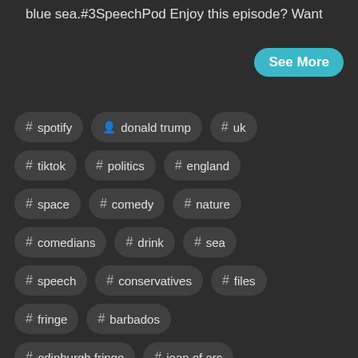blue sea.#3SpeechPod Enjoy this episode? Want
See More
# spotify
👤 donald trump
# uk
# tiktok
# politics
# england
# space
# comedy
# nature
# comedians
# drink
# sea
# speech
# conservatives
# files
# fringe
# barbados
# edinburgh fringe
# joan of arc
# bajan
# attenborough